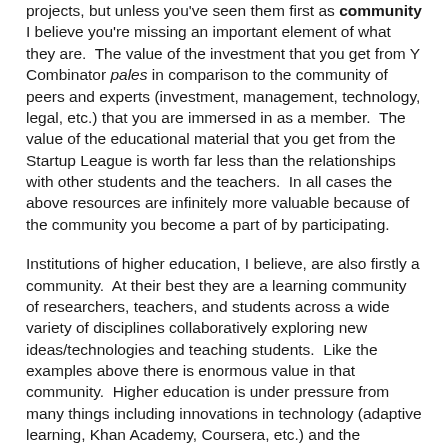projects, but unless you've seen them first as community I believe you're missing an important element of what they are.  The value of the investment that you get from Y Combinator pales in comparison to the community of peers and experts (investment, management, technology, legal, etc.) that you are immersed in as a member.  The value of the educational material that you get from the Startup League is worth far less than the relationships with other students and the teachers.  In all cases the above resources are infinitely more valuable because of the community you become a part of by participating.
Institutions of higher education, I believe, are also firstly a community.  At their best they are a learning community of researchers, teachers, and students across a wide variety of disciplines collaboratively exploring new ideas/technologies and teaching students.  Like the examples above there is enormous value in that community.  Higher education is under pressure from many things including innovations in technology (adaptive learning, Khan Academy, Coursera, etc.) and the response often pushes back arguing about pedagogical effectiveness.  I don't believe engaging